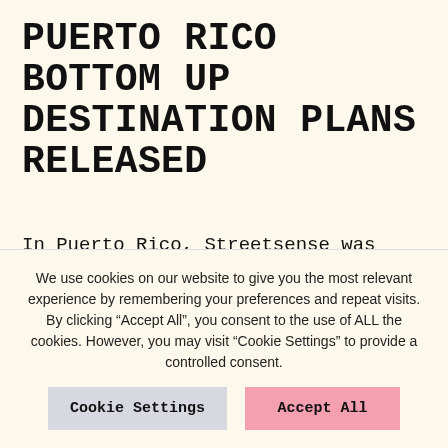PUERTO RICO BOTTOM UP DESTINATION PLANS RELEASED
In Puerto Rico, Streetsense was engaged to develop “Bottom Up Destination Plans” rooted in an adaptation of the framework that we call “Community DNA”. In December, Foundation for Puerto Rico (FPR) released the first set of
We use cookies on our website to give you the most relevant experience by remembering your preferences and repeat visits. By clicking “Accept All”, you consent to the use of ALL the cookies. However, you may visit “Cookie Settings” to provide a controlled consent.